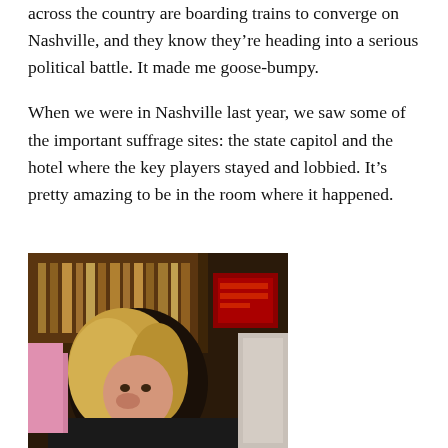across the country are boarding trains to converge on Nashville, and they know they’re heading into a serious political battle. It made me goose-bumpy.
When we were in Nashville last year, we saw some of the important suffrage sites: the state capitol and the hotel where the key players stayed and lobbied. It’s pretty amazing to be in the room where it happened.
[Figure (photo): A photo showing a person with blonde hair smiling, taken in what appears to be a room with bookshelves and red signage in the background.]